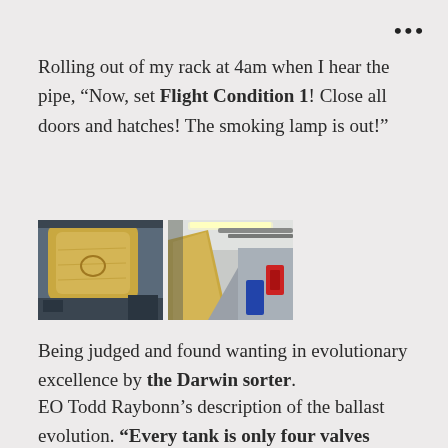Rolling out of my rack at 4am when I hear the pipe, “Now, set Flight Condition 1! Close all doors and hatches! The smoking lamp is out!”
[Figure (photo): Two side-by-side photos of ship interior machinery/pipes with yellow insulation and a corridor.]
Being judged and found wanting in evolutionary excellence by the Darwin sorter.
EO Todd Raybonn’s description of the ballast evolution. “Every tank is only four valves away from sea water.” He makes the ship sound alive